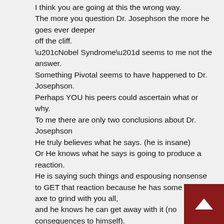I think you are going at this the wrong way. The more you question Dr. Josephson the more he goes ever deeper off the cliff. “Nobel Syndrome” seems to me not the answer. Something Pivotal seems to have happened to Dr. Josephson. Perhaps YOU his peers could ascertain what or why. To me there are only two conclusions about Dr. Josephson He truly believes what he says. (he is insane) Or He knows what he says is going to produce a reaction. He is saying such things and espousing nonsense to GET that reaction because he has some kind of axe to grind with you all, and he knows he can get away with it (no consequences to himself). Either way it seems to me for many years YOU his peers have done nothing to find out why Dr. Josephson has been lashing